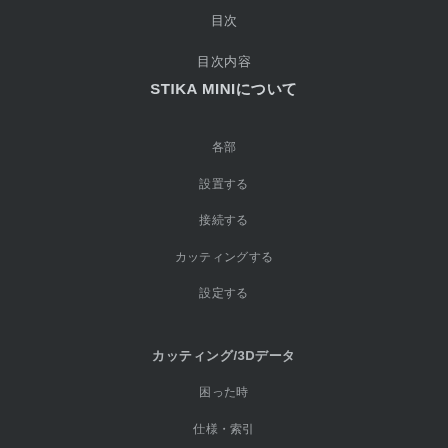目次
STIKA MINIについて
各部
設置する
接続する
カッティングする
設定する
カッティング/3Dデータ
困った時
仕様・索引